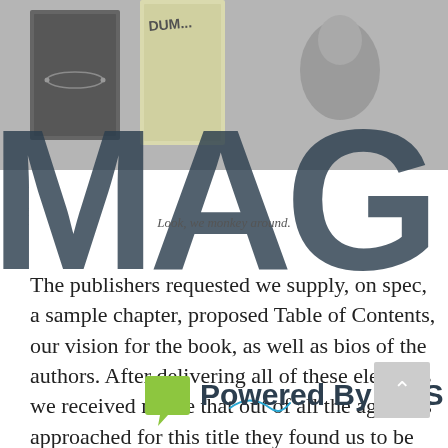[Figure (photo): Background photo showing books including one with 'Dummies' in the title, overlaid with large MAG text logo]
Look, we monkey around.
The publishers requested we supply, on spec, a sample chapter, proposed Table of Contents, our vision for the book, as well as bios of the authors. After delivering all of these elements we received notice that out of all the agencies approached for this title they found us to be the most impressive. What followed next was quite daunting,
[Figure (logo): Green leaf speech bubble icon with 'Powered By BDS' text]